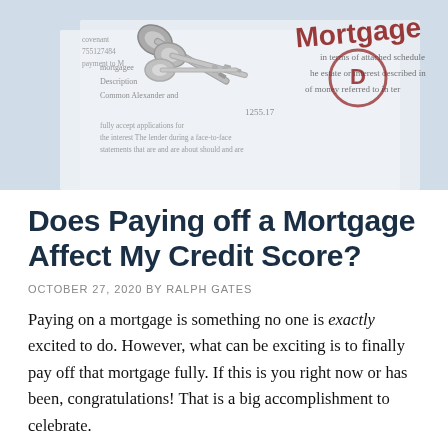[Figure (photo): Photo of house keys resting on a mortgage document, with the word 'Mortgage' visible along with text about attached schedules and estate interest]
Does Paying off a Mortgage Affect My Credit Score?
OCTOBER 27, 2020 BY RALPH GATES
Paying on a mortgage is something no one is exactly excited to do. However, what can be exciting is to finally pay off that mortgage fully. If this is you right now or has been, congratulations! That is a big accomplishment to celebrate.